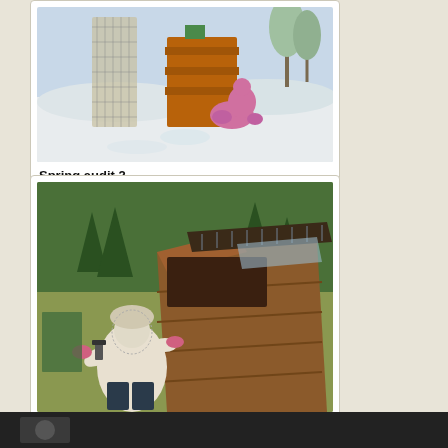[Figure (photo): A child in a pink winter suit crouching near wooden beehives in a snowy outdoor setting, with a wire mesh structure visible on the left.]
Spring audit 2
[Figure (photo): A beekeeper in a white protective suit and gloves inspecting an open log or box hive outdoors with green forest in the background.]
Spring audit 3
[Figure (photo): Partial view of a dark bottom strip showing another image, partially visible at the bottom of the page.]